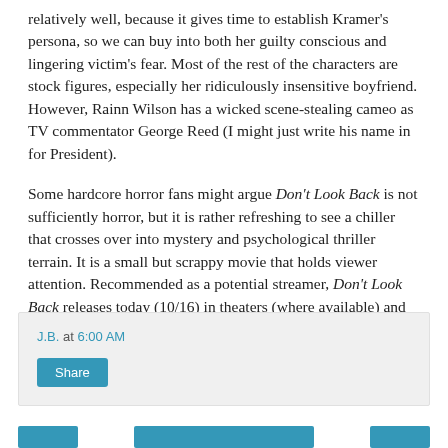relatively well, because it gives time to establish Kramer's persona, so we can buy into both her guilty conscious and lingering victim's fear. Most of the rest of the characters are stock figures, especially her ridiculously insensitive boyfriend. However, Rainn Wilson has a wicked scene-stealing cameo as TV commentator George Reed (I might just write his name in for President).
Some hardcore horror fans might argue Don't Look Back is not sufficiently horror, but it is rather refreshing to see a chiller that crosses over into mystery and psychological thriller terrain. It is a small but scrappy movie that holds viewer attention. Recommended as a potential streamer, Don't Look Back releases today (10/16) in theaters (where available) and on-demand.
J.B. at 6:00 AM
Share